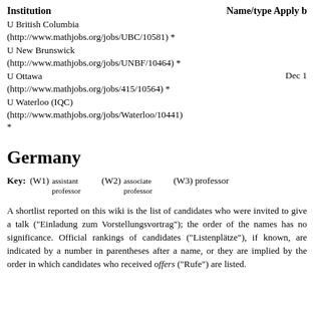| Institution | Name/type Apply b |
| --- | --- |
| U British Columbia
(http://www.mathjobs.org/jobs/UBC/10581) * |  |
| U New Brunswick
(http://www.mathjobs.org/jobs/UNBF/10464) * |  |
| U Ottawa
(http://www.mathjobs.org/jobs/415/10564) * | Dec 1 |
| U Waterloo (IQC)
(http://www.mathjobs.org/jobs/Waterloo/10441)
* |  |
Germany
Key:  (W1) assistant professor  (W2) associate professor  (W3) professor
A shortlist reported on this wiki is the list of candidates who were invited to give a talk ("Einladung zum Vorstellungsvortrag"); the order of the names has no significance. Official rankings of candidates ("Listenplätze"), if known, are indicated by a number in parentheses after a name, or they are implied by the order in which candidates who received offers ("Rufe") are listed.